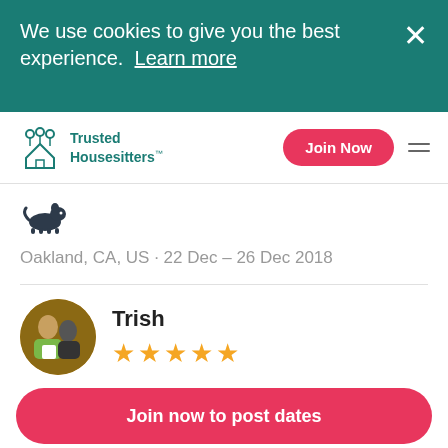We use cookies to give you the best experience.  Learn more
[Figure (logo): Trusted Housesitters logo with teal icon of people and house]
Join Now
[Figure (illustration): Small black cat/dog icon silhouette]
Oakland, CA, US · 22 Dec – 26 Dec 2018
Trish
[Figure (photo): Circular photo of reviewer Trish with another person, woman in yellow/green jacket]
★★★★★
I can say this confidently. Charlotte was everything you could have hoped for in a house
Join now to post dates